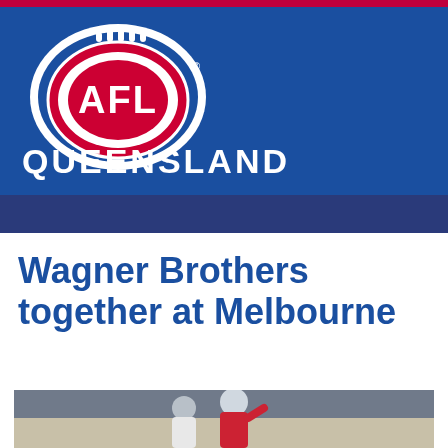[Figure (logo): AFL Queensland logo — AFL oval logo in red and white with 'AFL' text, above 'QUEENSLAND' in white bold uppercase text, on a blue background banner with a red bar at the top]
Wagner Brothers together at Melbourne
[Figure (photo): AFL players in Melbourne Demons red and blue uniforms on a football oval, with stadium seating visible in the background]